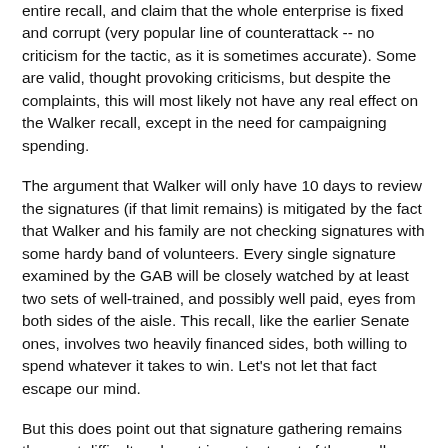entire recall, and claim that the whole enterprise is fixed and corrupt (very popular line of counterattack -- no criticism for the tactic, as it is sometimes accurate). Some are valid, thought provoking criticisms, but despite the complaints, this will most likely not have any real effect on the Walker recall, except in the need for campaigning spending.
The argument that Walker will only have 10 days to review the signatures (if that limit remains) is mitigated by the fact that Walker and his family are not checking signatures with some hardy band of volunteers. Every single signature examined by the GAB will be closely watched by at least two sets of well-trained, and possibly well paid, eyes from both sides of the aisle. This recall, like the earlier Senate ones, involves two heavily financed sides, both willing to spend whatever it takes to win. Let's not let that fact escape our mind.
But this does point out that signature gathering remains the most difficult and most important part of the recall process. Let's look at this in further detail.